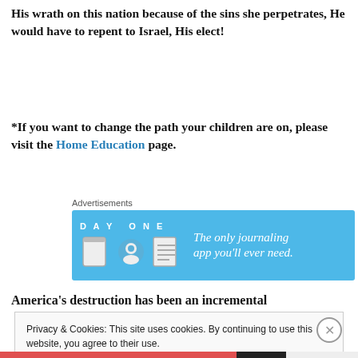His wrath on this nation because of the sins she perpetrates, He would have to repent to Israel, His elect!
*If you want to change the path your children are on, please visit the Home Education page.
Advertisements
[Figure (other): Day One journaling app advertisement banner with blue background and tagline 'The only journaling app you'll ever need.']
America’s destruction has been an incremental
Privacy & Cookies: This site uses cookies. By continuing to use this website, you agree to their use.
To find out more, including how to control cookies, see here: Cookie Policy
Close and accept